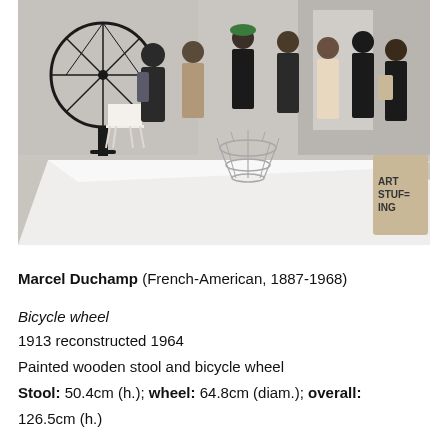[Figure (photo): Museum gallery installation photo showing Marcel Duchamp's Bicycle Wheel on a white pedestal/table. A stool with a bicycle wheel mounted on top is visible on the left, and a bottle rack sculpture is visible in the center. Museum visitors are seen in the background. A bag reading 'ART STUFF-ING' is visible on the right side.]
Marcel Duchamp (French-American, 1887-1968)
Bicycle wheel
1913 reconstructed 1964
Painted wooden stool and bicycle wheel
Stool: 50.4cm (h.); wheel: 64.8cm (diam.); overall:
126.5cm (h.)